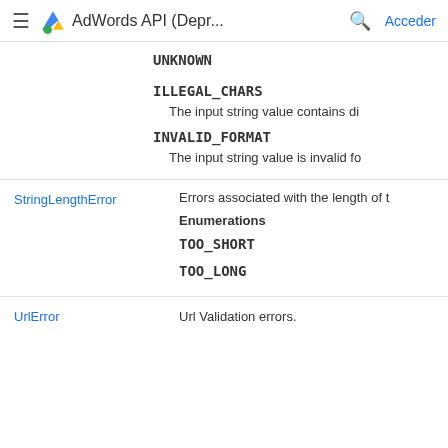AdWords API (Depr... | Acceder
UNKNOWN
ILLEGAL_CHARS
The input string value contains di
INVALID_FORMAT
The input string value is invalid fo
|  |  |
| --- | --- |
| StringLengthError | Errors associated with the length of 
Enumerations
TOO_SHORT
TOO_LONG |
| UrlError | Url Validation errors. |